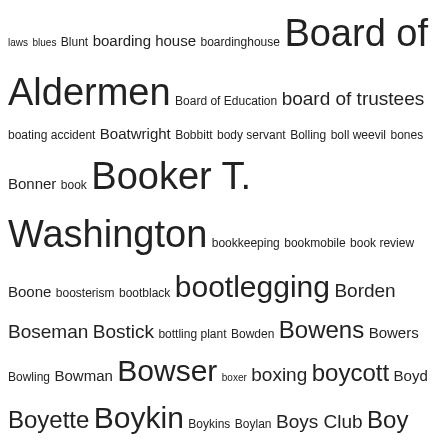laws blues Blunt boarding house boardinghouse Board of Aldermen Board of Education board of trustees boating accident Boatwright Bobbitt body servant Bolling boll weevil bones Bonner book Booker T. Washington bookkeeping bookmobile book review Boone boosterism bootblack bootlegging Borden Boseman Bostick bottling plant Bowden Bowens Bowers Bowling Bowman Bowser boxer boxing boycott Boyd Boyette Boykin Boykins Boylan Boys Club Boy Scouts Boys State Brailey brain disease brakeman Branch Brandon Branford Brantley Braswell breach of contract breaking and entering Brewer Brewington bricklayer brickmason bridge Bridgers Bridges Briggs Hotel Bright Brinkley Britton Broadway Brockington Brodie Bronze Star Brooks brother brothers Brown Brownrigg Bruce Bryant Buchanan Buckhorn Buckhorn reservoir Buck Leonard bug juice builder building building construction building trades Bullard Bulloch Bullock Bulluck Bunch Bunches Church bungalow Bunn burglary burial burial vault Burke burn accident Burns Burston Burton Business business directory business district business organization business owner butcher Butler Butterfield